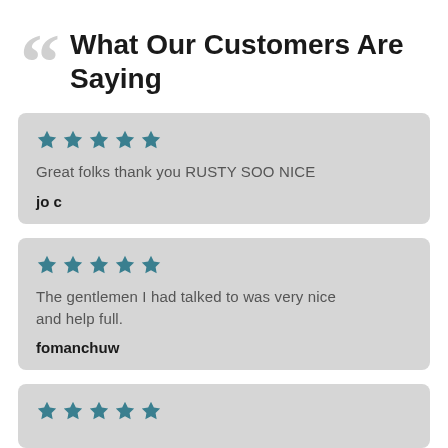What Our Customers Are Saying
★★★★★
Great folks thank you RUSTY SOO NICE
jo c
★★★★★
The gentlemen I had talked to was very nice and help full.
fomanchuw
★★★★★ (partial)